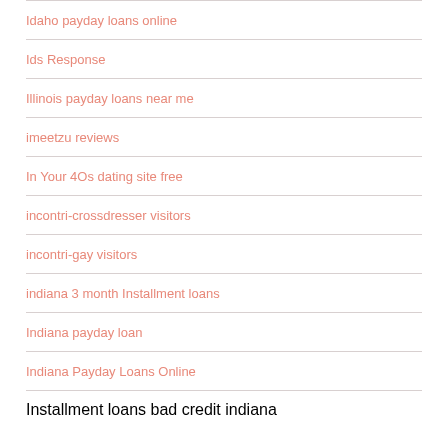Idaho payday loans online
Ids Response
Illinois payday loans near me
imeetzu reviews
In Your 4Os dating site free
incontri-crossdresser visitors
incontri-gay visitors
indiana 3 month Installment loans
Indiana payday loan
Indiana Payday Loans Online
Installment loans bad credit indiana